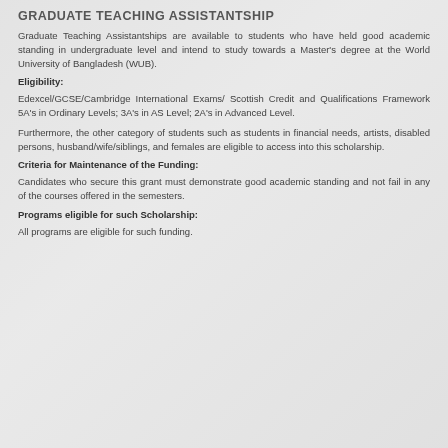GRADUATE TEACHING ASSISTANTSHIP
Graduate Teaching Assistantships are available to students who have held good academic standing in undergraduate level and intend to study towards a Master's degree at the World University of Bangladesh (WUB).
Eligibility:
Edexcel/GCSE/Cambridge International Exams/ Scottish Credit and Qualifications Framework 5A's in Ordinary Levels; 3A's in AS Level; 2A's in Advanced Level.
Furthermore, the other category of students such as students in financial needs, artists, disabled persons, husband/wife/siblings, and females are eligible to access into this scholarship.
Criteria for Maintenance of the Funding:
Candidates who secure this grant must demonstrate good academic standing and not fail in any of the courses offered in the semesters.
Programs eligible for such Scholarship:
All programs are eligible for such funding.